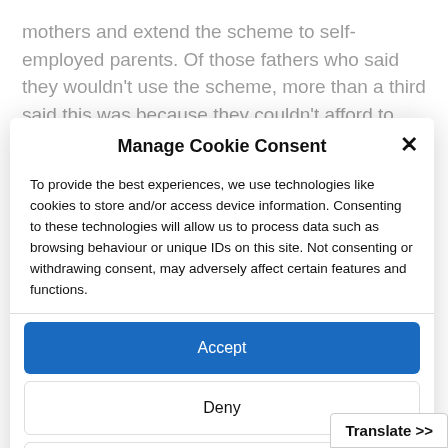mothers and extend the scheme to self-employed parents. Of those fathers who said they wouldn't use the scheme, more than a third said this was because they couldn't afford to. Those employers that can afford to should go
Manage Cookie Consent
To provide the best experiences, we use technologies like cookies to store and/or access device information. Consenting to these technologies will allow us to process data such as browsing behaviour or unique IDs on this site. Not consenting or withdrawing consent, may adversely affect certain features and functions.
Accept
Deny
View preferences
Cookie Policy  Privacy Policy
Translate >>